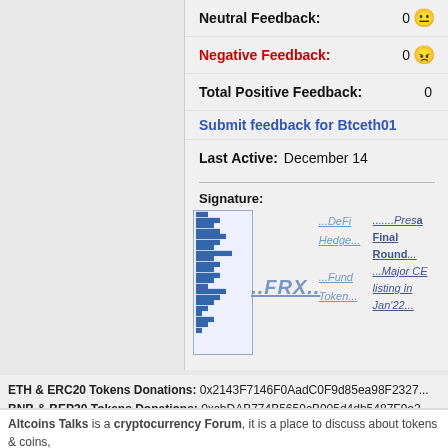Neutral Feedback: 0
Negative Feedback: 0
Total Positive Feedback: 0
Submit feedback for Btceth01
Last Active: December 14
Signature:
[Figure (other): Cryptocurrency signature banner with FRX token logo, chart, DeFi Hedge Fund Token text links, and PreSale Final Round Major CEX listing in Jan'22 promotional text]
ETH & ERC20 Tokens Donations: 0x2143F7146F0AadC0F9d85ea98F2327...
BNB & BEP20 Tokens Donations: 0xcbDAB774B5659cB905d4db5487F9e2...
Altcoins Talks is a cryptocurrency Forum, it is a place to discuss about tokens & coins, projects. However we ask you to do your due diligence before joining any campaign...